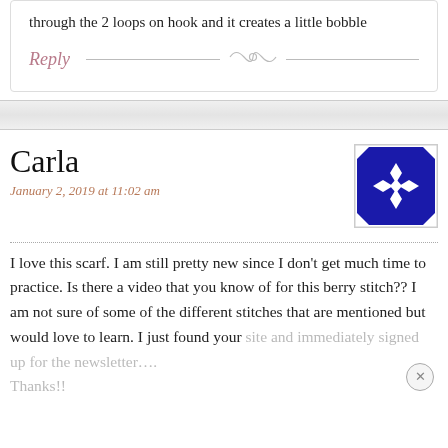through the 2 loops on hook and it creates a little bobble
Reply
Carla
January 2, 2019 at 11:02 am
[Figure (illustration): Blue square avatar icon with white geometric star/cross pattern, bordered in white]
I love this scarf. I am still pretty new since I don’t get much time to practice. Is there a video that you know of for this berry stitch?? I am not sure of some of the different stitches that are mentioned but would love to learn. I just found your site and immediately signed up for the newsletter…. Thanks!!